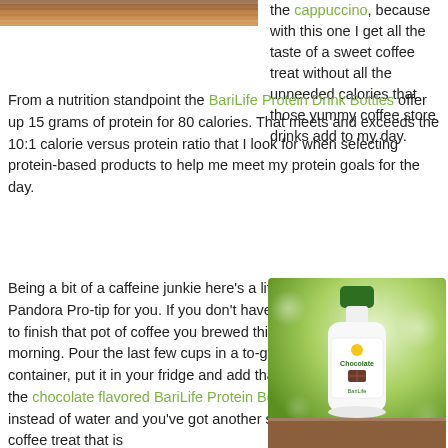[Figure (photo): Partial image of a wooden surface or food item, cropped at top left]
the cappuccino, because with this one I get all the taste of a sweet coffee treat without all the unneeded calories that those yummy coffee store drinks add to my day.
From a nutrition standpoint the BariLife Protein Drink Bottles offer up 15 grams of protein for 80 calories. That meets and exceeds the 10:1 calorie versus protein ratio that I look for when selecting protein-based products to help me meet my protein goals for the day.
Being a bit of a caffeine junkie here's a little Pandora Pro-tip for you. If you don't have time to finish that pot of coffee you brewed this morning. Pour the last few cups in a to-go container, put it in your fridge and add that to the chocolate flavored BariLife Protein Bottle instead of water and you've got another sweet coffee treat that is
[Figure (photo): BariLife Chocolate Protein Drink Bottle displayed on a wooden surface with a green bokeh background]